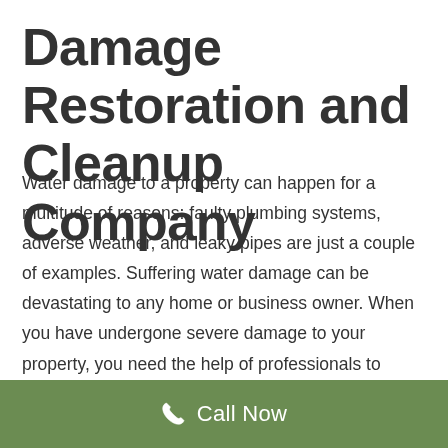Damage Restoration and Cleanup Company
Water damage to a property can happen for a multitude of reasons: faulty plumbing systems, adverse weather, and leaky pipes are just a couple of examples. Suffering water damage can be devastating to any home or business owner. When you have undergone severe damage to your property, you need the help of professionals to restore and rebuild. That is where the Pros come in. The Water Damage Pros of Eaton, New York have extensive experience in the field of water damage repairs and restoration, and want to help you in your time of need. Here at the 911 Water Damage Pros, we know that a disaster can happen any time; during the day, night, on a holiday or even on the weekend. That is why we are available for your call 24 hours a day, 7 days a week, and
Call Now